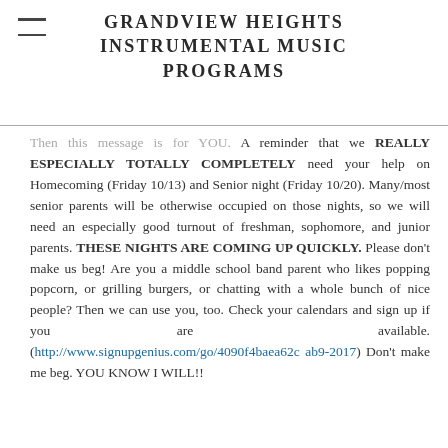GRANDVIEW HEIGHTS INSTRUMENTAL MUSIC PROGRAMS
Then this message is for YOU. A reminder that we REALLY ESPECIALLY TOTALLY COMPLETELY need your help on Homecoming (Friday 10/13) and Senior night (Friday 10/20). Many/most senior parents will be otherwise occupied on those nights, so we will need an especially good turnout of freshman, sophomore, and junior parents. THESE NIGHTS ARE COMING UP QUICKLY. Please don't make us beg! Are you a middle school band parent who likes popping popcorn, or grilling burgers, or chatting with a whole bunch of nice people? Then we can use you, too. Check your calendars and sign up if you are available. (http://www.signupgenius.com/go/4090f4baea62cab9-2017) Don't make me beg. YOU KNOW I WILL!!